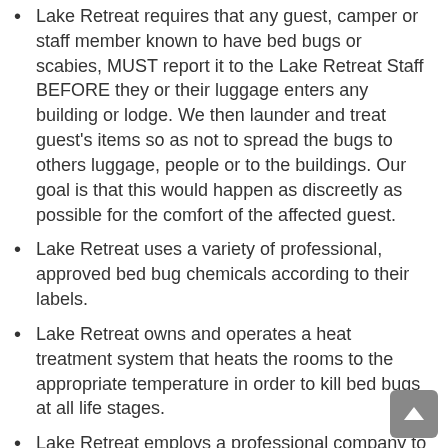Lake Retreat requires that any guest, camper or staff member known to have bed bugs or scabies, MUST report it to the Lake Retreat Staff BEFORE they or their luggage enters any building or lodge. We then launder and treat guest's items so as not to spread the bugs to others luggage, people or to the buildings. Our goal is that this would happen as discreetly as possible for the comfort of the affected guest.
Lake Retreat uses a variety of professional, approved bed bug chemicals according to their labels.
Lake Retreat owns and operates a heat treatment system that heats the rooms to the appropriate temperature in order to kill bed bugs at all life stages.
Lake Retreat employs a professional company to assist with additional  preventative bed bug treatments.